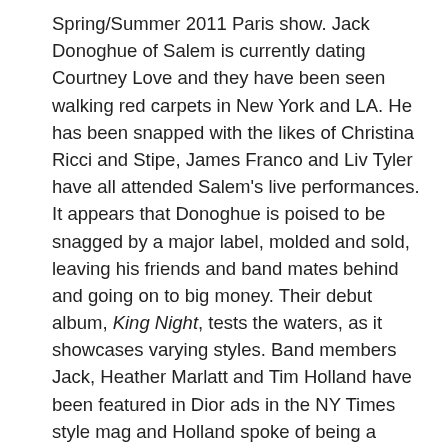Spring/Summer 2011 Paris show. Jack Donoghue of Salem is currently dating Courtney Love and they have been seen walking red carpets in New York and LA. He has been snapped with the likes of Christina Ricci and Stipe, James Franco and Liv Tyler have all attended Salem's live performances. It appears that Donoghue is poised to be snagged by a major label, molded and sold, leaving his friends and band mates behind and going on to big money. Their debut album, King Night, tests the waters, as it showcases varying styles. Band members Jack, Heather Marlatt and Tim Holland have been featured in Dior ads in the NY Times style mag and Holland spoke of being a (former) Heroin addict and prostitute in BUTT magazine.  The article reeked of the ridiculous JT Leroy AKA Laura Albert nonsense of several years ago, but it may very well be true. Anthony Fantano of theneedledrop.com describes Salem's dirty south tunes as “crunk for people that hold seances.”